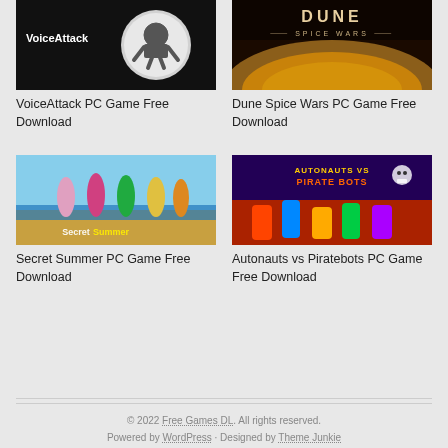[Figure (screenshot): VoiceAttack game cover art - dark background with VoiceAttack logo and white icon]
[Figure (screenshot): Dune Spice Wars game cover art - desert planet landscape]
VoiceAttack PC Game Free Download
Dune Spice Wars PC Game Free Download
[Figure (screenshot): Secret Summer game cover art - beach scene with characters]
[Figure (screenshot): Autonauts vs Piratebots game cover art - colorful action scene]
Secret Summer PC Game Free Download
Autonauts vs Piratebots PC Game Free Download
© 2022 Free Games DL. All rights reserved. Powered by WordPress · Designed by Theme Junkie